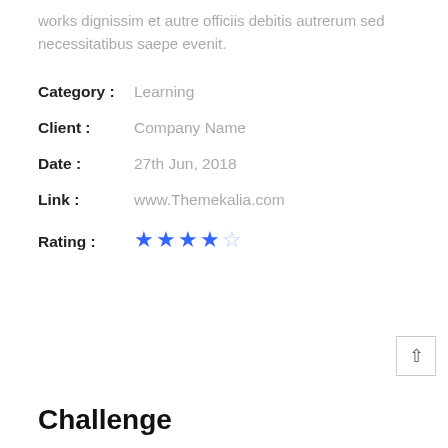works dignissim et autre officiis debitis autrerum sed necessitatibus saepe evenit.
Category :   Learning
Client :  Company Name
Date :  27th Jun, 2018
Link :  www.Themekalia.com
Rating :  ★★★★☆
Challenge